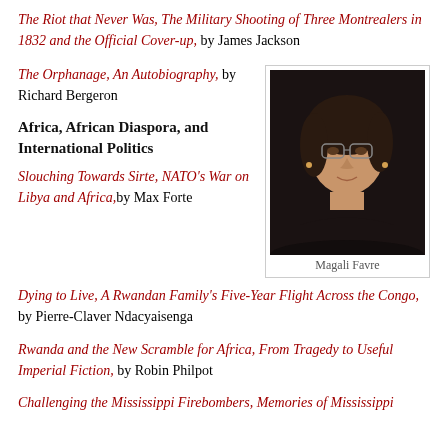The Riot that Never Was, The Military Shooting of Three Montrealers in 1832 and the Official Cover-up, by James Jackson
The Orphanage, An Autobiography, by Richard Bergeron
[Figure (photo): Portrait photo of Magali Favre, a woman with dark curly hair and glasses, against a dark background]
Magali Favre
Africa, African Diaspora, and International Politics
Slouching Towards Sirte, NATO's War on Libya and Africa, by Max Forte
Dying to Live, A Rwandan Family's Five-Year Flight Across the Congo, by Pierre-Claver Ndacyaisenga
Rwanda and the New Scramble for Africa, From Tragedy to Useful Imperial Fiction, by Robin Philpot
Challenging the Mississippi Firebombers, Memories of Mississippi